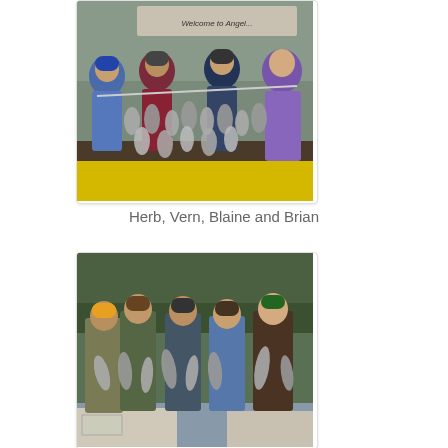[Figure (photo): Group of four people standing at a dock or fishing station, holding up a rod or stringer with many fish (walleye or similar) hanging from it. Two men on left side, two on right, with a yellow floor visible. A sign reading 'Welcome to...' is visible in background. People wearing blue, dark red/maroon, dark, and purple sweatshirts.]
Herb, Vern, Blaine and Brian
[Figure (photo): Group of five men on a boat holding up striped bass or similar fish. They are standing close together, each holding fish. Green trees and water visible in background. Men wearing camo, brown, and dark clothing with various baseball caps (CAT, John Deere logos visible).]